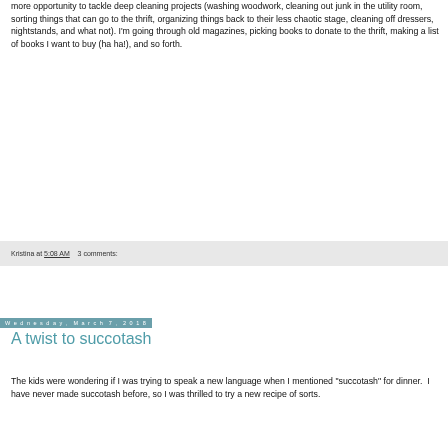more opportunity to tackle deep cleaning projects (washing woodwork, cleaning out junk in the utility room, sorting things that can go to the thrift, organizing things back to their less chaotic stage, cleaning off dressers, nightstands, and what not). I'm going through old magazines, picking books to donate to the thrift, making a list of books I want to buy (ha ha!), and so forth.
Kristina at 5:08 AM    3 comments:
Wednesday, March 7, 2018
A twist to succotash
The kids were wondering if I was trying to speak a new language when I mentioned "succotash" for dinner.  I have never made succotash before, so I was thrilled to try a new recipe of sorts.